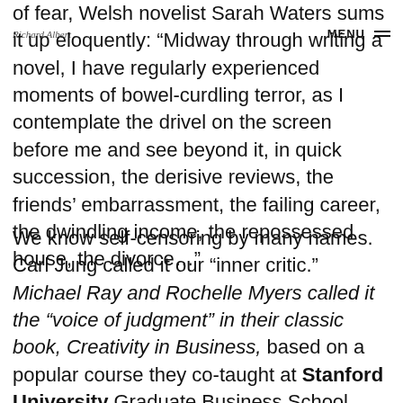Richard Albert   MENU
of fear, Welsh novelist Sarah Waters sums it up eloquently: “Midway through writing a novel, I have regularly experienced moments of bowel-curdling terror, as I contemplate the drivel on the screen before me and see beyond it, in quick succession, the derisive reviews, the friends’ embarrassment, the failing career, the dwindling income, the repossessed house, the divorce…”
We know self-censoring by many names. Carl Jung called it our “inner critic.” Michael Ray and Rochelle Myers called it the “voice of judgment” in their classic book, Creativity in Business, based on a popular course they co-taught at Stanford University Graduate Business School. Novelist and screenwriter Steven Pressfield called it